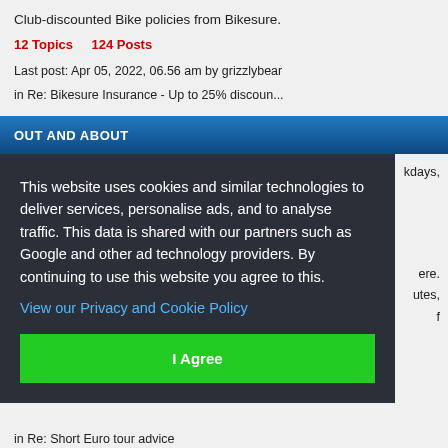Club-discounted Bike policies from Bikesure.
12 Topics   124 Posts
Last post: Apr 05, 2022, 06.56 am by grizzlybear
in Re: Bikesure Insurance - Up to 25% discoun...
OUT AND ABOUT
kdays,
This website uses cookies and similar technologies to deliver services, personalise ads, and to analyse traffic. This data is shared with our partners such as Google and other ad technology providers. By continuing to use this website you agree to this.
View our Privacy and Cookie Policy
I Agree
ere.
utes,
f
in Re: Short Euro tour advice